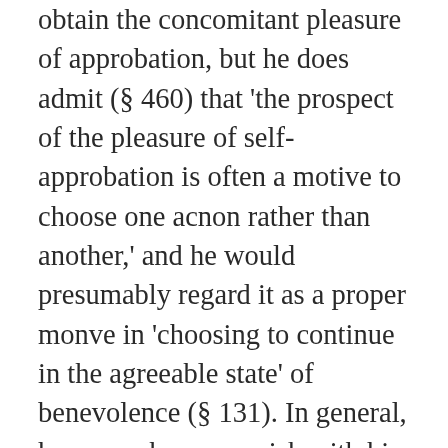obtain the concomitant pleasure of approbation, but he does admit (§ 460) that 'the prospect of the pleasure of self-approbation is often a motive to choose one acnon rather than another,' and he would presumably regard it as a proper monve in 'choosing to continue in the agreeable state' of benevolence (§ 131). In general, however, he runs a risk with his theory of disinterested desire of proving too much—viz. that all desire is disinterested, in which case disinterestedness is no longer the mark of virtuous desire or that no thought of the pleasure of moral sense must enter into the mind of the virtuous person, in which case the moral sense is not very useful to virtue, but